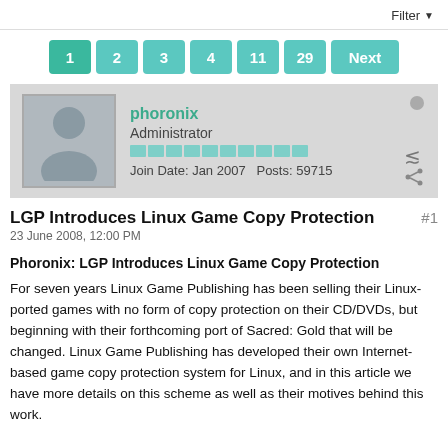Filter ▼
1  2  3  4  11  29  Next
phoronix
Administrator
Join Date: Jan 2007  Posts: 59715
LGP Introduces Linux Game Copy Protection  #1
23 June 2008, 12:00 PM
Phoronix: LGP Introduces Linux Game Copy Protection
For seven years Linux Game Publishing has been selling their Linux-ported games with no form of copy protection on their CD/DVDs, but beginning with their forthcoming port of Sacred: Gold that will be changed. Linux Game Publishing has developed their own Internet-based game copy protection system for Linux, and in this article we have more details on this scheme as well as their motives behind this work.